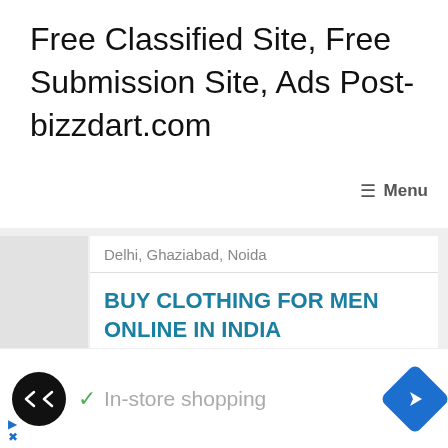Free Classified Site, Free Submission Site, Ads Post- bizzdart.com
≡ Menu
Delhi, Ghaziabad, Noida
BUY CLOTHING FOR MEN ONLINE IN INDIA
[Figure (screenshot): Bottom advertisement bar with a circular black logo with double arrow icon, a green checkmark with text 'In-store shopping', and a blue diamond navigation arrow icon on the right.]